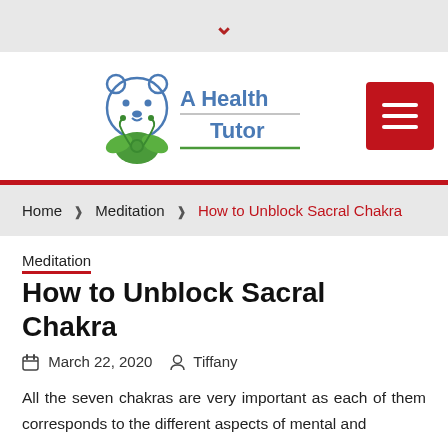▾
[Figure (logo): A Health Tutor logo with a bear wearing a stethoscope and green leaves, accompanied by the text 'A Health Tutor']
Home ❯ Meditation ❯ How to Unblock Sacral Chakra
Meditation
How to Unblock Sacral Chakra
March 22, 2020  Tiffany
All the seven chakras are very important as each of them corresponds to the different aspects of mental and